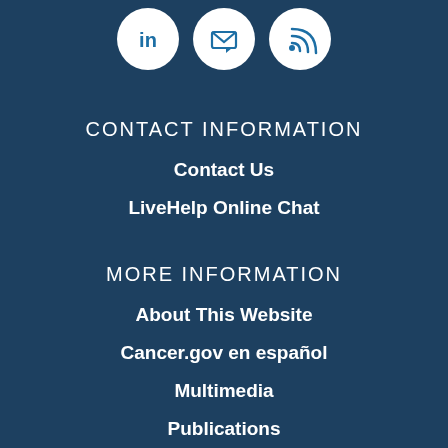[Figure (illustration): Three social media icon circles (LinkedIn, email/message, RSS feed) on dark blue background, white circles with blue icons]
CONTACT INFORMATION
Contact Us
LiveHelp Online Chat
MORE INFORMATION
About This Website
Cancer.gov en español
Multimedia
Publications